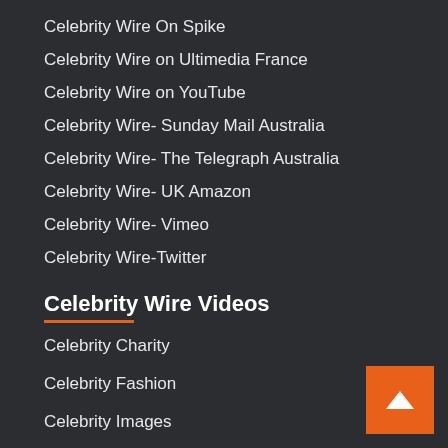Celebrity Wire On Spike
Celebrity Wire on Ultimedia France
Celebrity Wire on YouTube
Celebrity Wire- Sunday Mail Australia
Celebrity Wire- The Telegraph Australia
Celebrity Wire- UK Amazon
Celebrity Wire- Vimeo
Celebrity Wire-Twitter
Celebrity Wire Videos
Celebrity Charity
Celebrity Fashion
Celebrity Images
Celebrity Interviews